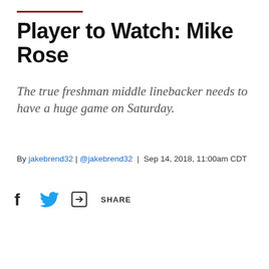Player to Watch: Mike Rose
The true freshman middle linebacker needs to have a huge game on Saturday.
By jakebrend32 | @jakebrend32 | Sep 14, 2018, 11:00am CDT
[Figure (infographic): Social share icons: Facebook, Twitter, and a share/forward icon with the label SHARE]